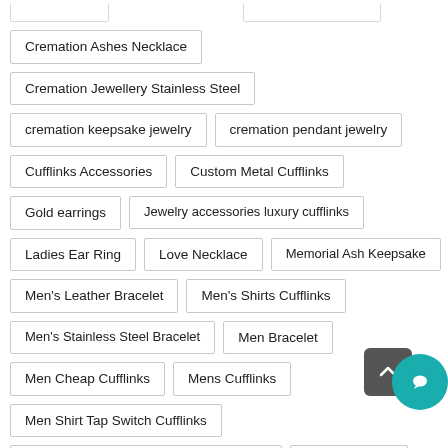Cremation Ashes Necklace
Cremation Jewellery Stainless Steel
cremation keepsake jewelry
cremation pendant jewelry
Cufflinks Accessories
Custom Metal Cufflinks
Gold earrings
Jewelry accessories luxury cufflinks
Ladies Ear Ring
Love Necklace
Memorial Ash Keepsake
Men's Leather Bracelet
Men's Shirts Cufflinks
Men's Stainless Steel Bracelet
Men Bracelet
Men Cheap Cufflinks
Mens Cufflinks
Men Shirt Tap Switch Cufflinks
mens leather and stainless steel bracelets
Metal Cufflinks
Rose Gold Foot Chain Anklet
shirt Cufflinks
Stainless Steel Anklets
stainless steel cremation necklace